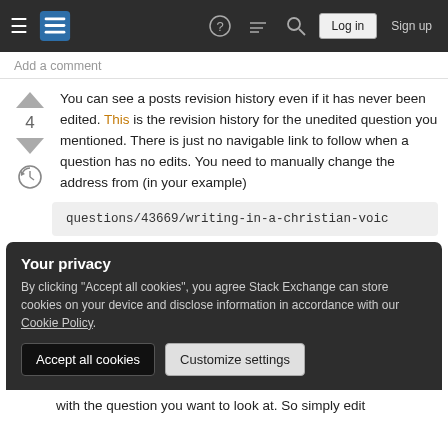Stack Exchange navigation bar with hamburger, logo, help, chat, search icons, Log in and Sign up buttons
Add a comment
You can see a posts revision history even if it has never been edited. This is the revision history for the unedited question you mentioned. There is just no navigable link to follow when a question has no edits. You need to manually change the address from (in your example)
questions/43669/writing-in-a-christian-voic
Your privacy
By clicking "Accept all cookies", you agree Stack Exchange can store cookies on your device and disclose information in accordance with our Cookie Policy.
with the question you want to look at. So simply edit